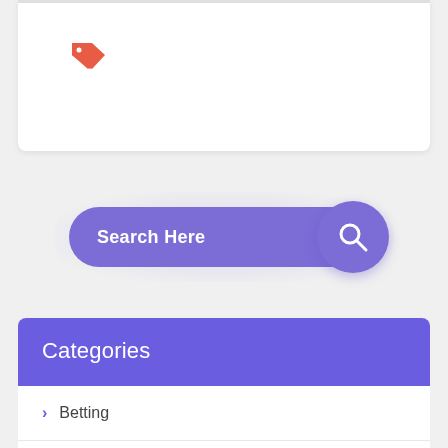[Figure (screenshot): Top white card with a cyan progress bar at top left and a red tag icon below]
[Figure (screenshot): Purple rounded search bar with text 'Search Here' and a circular search button with magnifying glass icon on the right]
Categories
Betting
Casino